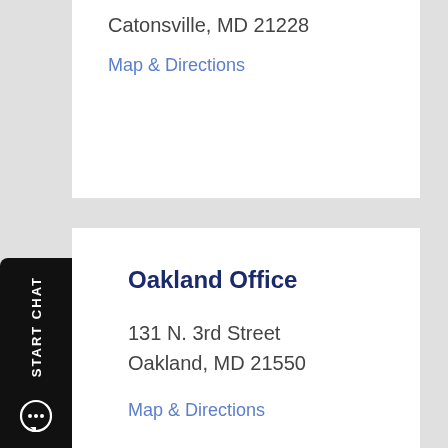Catonsville, MD 21228
Map & Directions
Oakland Office
131 N. 3rd Street
Oakland, MD 21550
Map & Directions
Salisbury Office